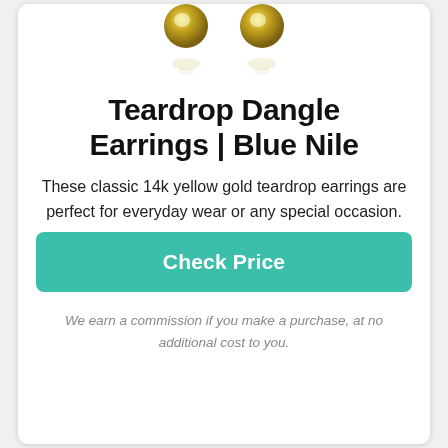[Figure (photo): Two gold teardrop dangle earrings shown from above with reflections below them on a white background.]
Teardrop Dangle Earrings | Blue Nile
These classic 14k yellow gold teardrop earrings are perfect for everyday wear or any special occasion.
Check Price
We earn a commission if you make a purchase, at no additional cost to you.